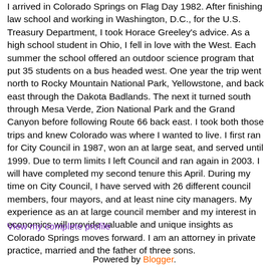I arrived in Colorado Springs on Flag Day 1982. After finishing law school and working in Washington, D.C., for the U.S. Treasury Department, I took Horace Greeley's advice. As a high school student in Ohio, I fell in love with the West. Each summer the school offered an outdoor science program that put 35 students on a bus headed west. One year the trip went north to Rocky Mountain National Park, Yellowstone, and back east through the Dakota Badlands. The next it turned south through Mesa Verde, Zion National Park and the Grand Canyon before following Route 66 back east. I took both those trips and knew Colorado was where I wanted to live. I first ran for City Council in 1987, won an at large seat, and served until 1999. Due to term limits I left Council and ran again in 2003. I will have completed my second tenure this April. During my time on City Council, I have served with 26 different council members, four mayors, and at least nine city managers. My experience as an at large council member and my interest in economics will provide valuable and unique insights as Colorado Springs moves forward. I am an attorney in private practice, married and the father of three sons.
View my complete profile
Powered by Blogger.